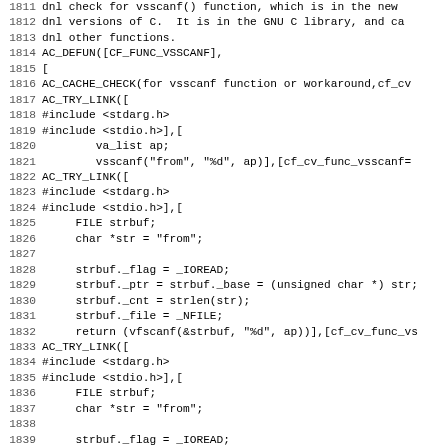Code listing lines 1811-1843, autoconf/m4 macro source code for CF_FUNC_VSSCANF